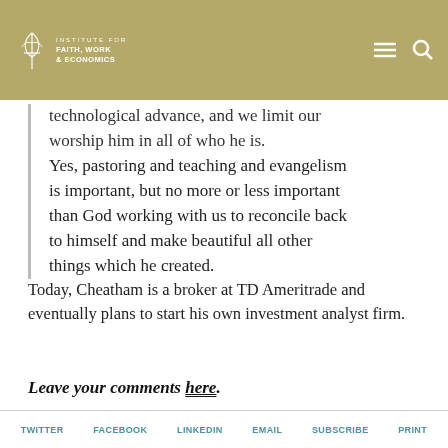Institute for Faith, Work & Economics
technological advance, and we limit our worship him in all of who he is. Yes, pastoring and teaching and evangelism is important, but no more or less important than God working with us to reconcile back to himself and make beautiful all other things which he created.
Today, Cheatham is a broker at TD Ameritrade and eventually plans to start his own investment analyst firm.
Leave your comments here.
TWITTER   FACEBOOK   LINKEDIN   EMAIL   SUBSCRIBE   PRINT